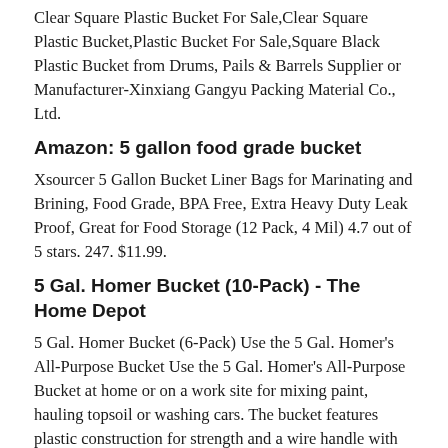Clear Square Plastic Bucket For Sale,Clear Square Plastic Bucket,Plastic Bucket For Sale,Square Black Plastic Bucket from Drums, Pails & Barrels Supplier or Manufacturer-Xinxiang Gangyu Packing Material Co., Ltd.
Amazon: 5 gallon food grade bucket
Xsourcer 5 Gallon Bucket Liner Bags for Marinating and Brining, Food Grade, BPA Free, Extra Heavy Duty Leak Proof, Great for Food Storage (12 Pack, 4 Mil) 4.7 out of 5 stars. 247. $11.99.
5 Gal. Homer Bucket (10-Pack) - The Home Depot
5 Gal. Homer Bucket (6-Pack) Use the 5 Gal. Homer's All-Purpose Bucket Use the 5 Gal. Homer's All-Purpose Bucket at home or on a work site for mixing paint, hauling topsoil or washing cars. The bucket features plastic construction for strength and a wire handle with